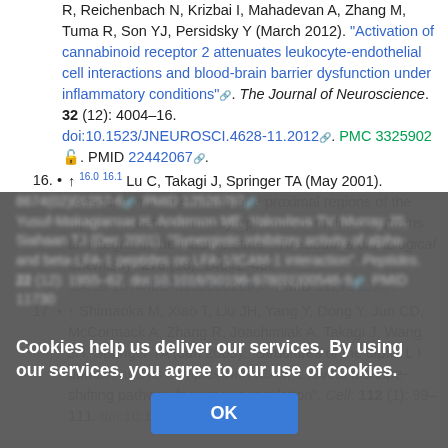R, Reichenbach N, Krizbai I, Mahadevan A, Zhang M, Tuma R, Son YJ, Persidsky Y (March 2012). "Activation of cannabinoid receptor 2 attenuates leukocyte-endothelial cell interactions and blood-brain barrier dysfunction under inflammatory conditions". The Journal of Neuroscience. 32 (12): 4004–16. doi:10.1523/JNEUROSCI.4628-11.2012. PMC 3325902. PMID 22442067.
16. Lu C, Takagi J, Springer TA (May 2001). "Association of the membrane proximal regions of the alpha and beta subunit cytoplasmic domains constrains an integrin in the inactive state". The Journal of Biological Chemistry. 276 (18): 14642–48. doi:10.1074/jbc.M100600200. PMID 11279101.
17. Shimaoka M, Xiao T, Liu JH, Yang Y, Dong Y, Jun CD, McCormack A, Zhang R, Joachimiak A, Takagi J, Wang JH, Springer TA (Jan 2003). "Structures of the alpha L I domain and its complex with ICAM-1 reveal a shape-shifting pathway for integrin regulation". Cell. 112 (1): 99–111. doi:10.1016/S0092-8674(02)01257-6. PMID 12526797.
Cookies help us deliver our services. By using our services, you agree to our use of cookies.